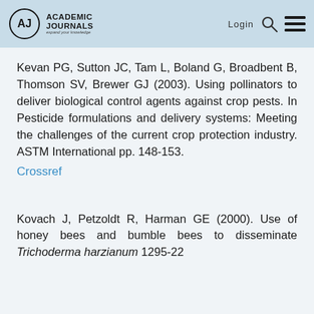Academic Journals — Login
Kevan PG, Sutton JC, Tam L, Boland G, Broadbent B, Thomson SV, Brewer GJ (2003). Using pollinators to deliver biological control agents against crop pests. In Pesticide formulations and delivery systems: Meeting the challenges of the current crop protection industry. ASTM International pp. 148-153.
Crossref
Kovach J, Petzoldt R, Harman GE (2000). Use of honey bees and bumble bees to disseminate Trichoderma harzianum 1295-22